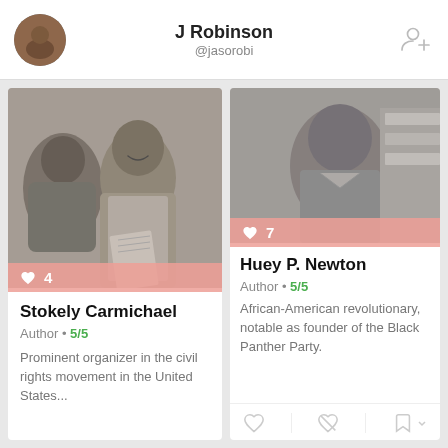J Robinson @jasobi
[Figure (photo): Black and white photo of Stokely Carmichael smiling, with like count 4]
Stokely Carmichael
Author • 5/5
Prominent organizer in the civil rights movement in the United States...
[Figure (photo): Black and white photo of Huey P. Newton, with like count 7]
Huey P. Newton
Author • 5/5
African-American revolutionary, notable as founder of the Black Panther Party.